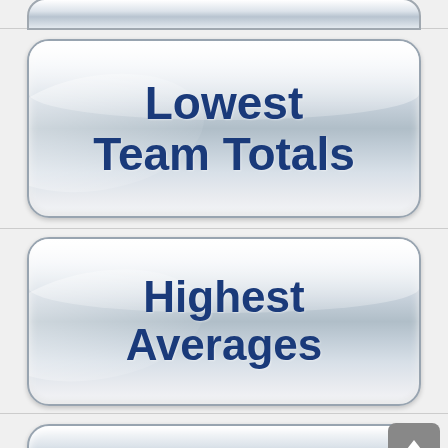[Figure (illustration): Partial top of a glossy rounded navigation button, cut off at top of page]
[Figure (illustration): Glossy rounded navigation button labeled 'Lowest Team Totals' in bold dark blue text]
[Figure (illustration): Glossy rounded navigation button labeled 'Highest Averages' in bold dark blue text]
[Figure (illustration): Partial bottom of a glossy rounded navigation button, partially cut off, with a grey back-to-top arrow button in the bottom right corner]